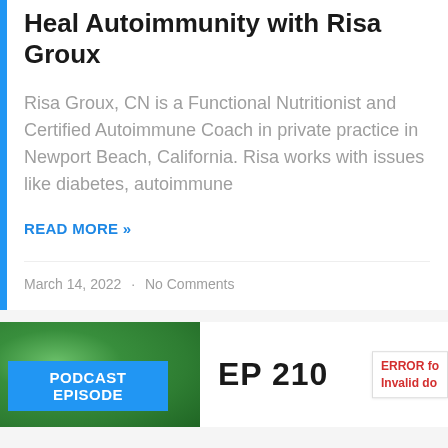Heal Autoimmunity with Risa Groux
Risa Groux, CN is a Functional Nutritionist and Certified Autoimmune Coach in private practice in Newport Beach, California. Risa works with issues like diabetes, autoimmune
READ MORE »
March 14, 2022  ·  No Comments
[Figure (photo): Green foliage background image with a blue 'PODCAST EPISODE' badge overlay]
EP 210